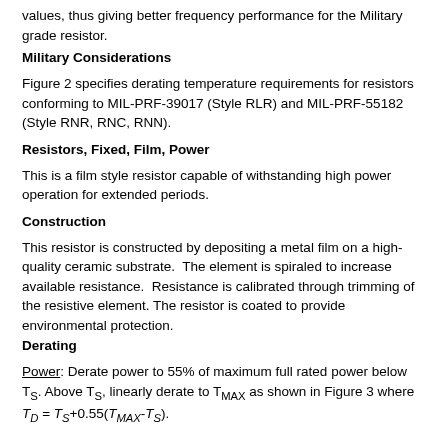values, thus giving better frequency performance for the Military grade resistor.
Military Considerations
Figure 2 specifies derating temperature requirements for resistors conforming to MIL-PRF-39017 (Style RLR) and MIL-PRF-55182 (Style RNR, RNC, RNN).
Resistors, Fixed, Film, Power
This is a film style resistor capable of withstanding high power operation for extended periods.
Construction
This resistor is constructed by depositing a metal film on a high-quality ceramic substrate.  The element is spiraled to increase available resistance.  Resistance is calibrated through trimming of the resistive element. The resistor is coated to provide environmental protection.
Derating
Power: Derate power to 55% of maximum full rated power below T_S. Above T_S, linearly derate to T_MAX as shown in Figure 3 where T_D = T_S+0.55(T_MAX-T_S).